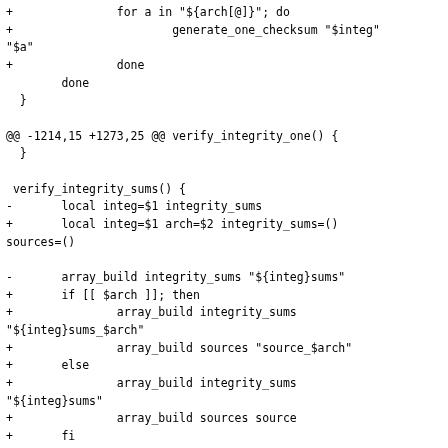Diff/patch code snippet showing shell script changes to verify_integrity_sums() function